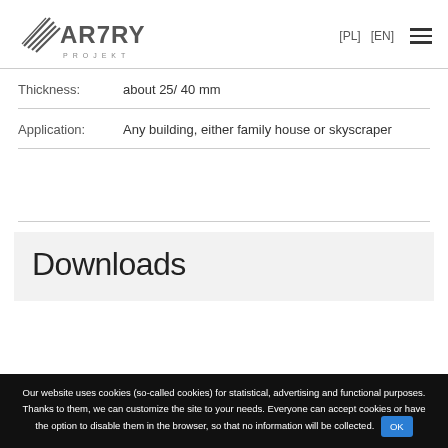[Figure (logo): ARTYS Projekt logo with stylized triangular/arrow icon]
Thickness:    about 25/ 40 mm
Application:    Any building, either family house or skyscraper
Downloads
Our website uses cookies (so-called cookies) for statistical, advertising and functional purposes. Thanks to them, we can customize the site to your needs. Everyone can accept cookies or have the option to disable them in the browser, so that no information will be collected.  OK